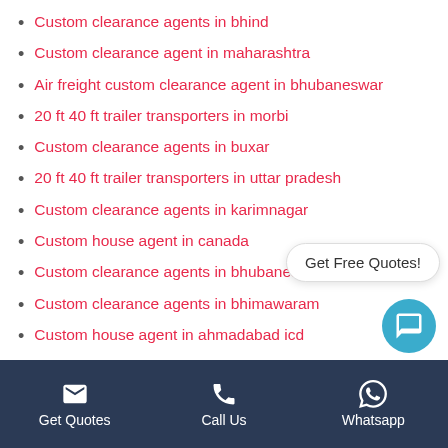Custom clearance agents in bhind
Custom clearance agent in maharashtra
Air freight custom clearance agent in bhubaneswar
20 ft 40 ft trailer transporters in morbi
Custom clearance agents in buxar
20 ft 40 ft trailer transporters in uttar pradesh
Custom clearance agents in karimnagar
Custom house agent in canada
Custom clearance agents in bhubaneswar
Custom clearance agents in bhimawaram
Custom house agent in ahmadabad icd
Custom clearance agents in muzaffarpur
Custom clearance agents in greater noi
Custom clearance agent in icd thar
Custom house agent in turkey
Get Quotes | Call Us | Whatsapp